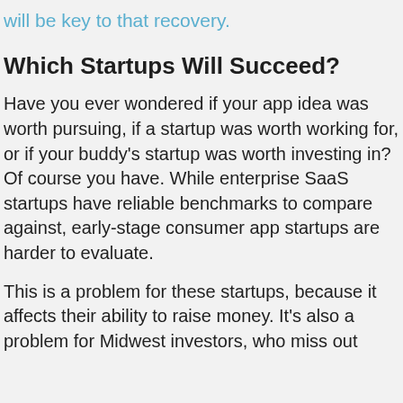will be key to that recovery.
Which Startups Will Succeed?
Have you ever wondered if your app idea was worth pursuing, if a startup was worth working for, or if your buddy's startup was worth investing in? Of course you have. While enterprise SaaS startups have reliable benchmarks to compare against, early-stage consumer app startups are harder to evaluate.
This is a problem for these startups, because it affects their ability to raise money. It's also a problem for Midwest investors, who miss out